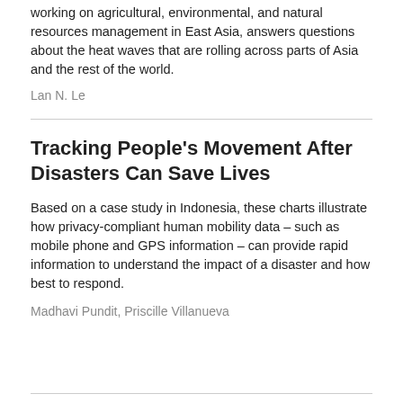working on agricultural, environmental, and natural resources management in East Asia, answers questions about the heat waves that are rolling across parts of Asia and the rest of the world.
Lan N. Le
Tracking People's Movement After Disasters Can Save Lives
Based on a case study in Indonesia, these charts illustrate how privacy-compliant human mobility data – such as mobile phone and GPS information – can provide rapid information to understand the impact of a disaster and how best to respond.
Madhavi Pundit, Priscille Villanueva